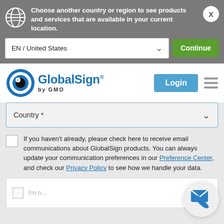Choose another country or region to see products and services that are available in your current location.
EN / United States
Continue
[Figure (logo): GlobalSign by GMO logo with blue eye icon]
Login
Country *
If you haven't already, please check here to receive email communications about GlobalSign products. You can always update your communication preferences in our Preference Center, and check our Privacy Policy to see how we handle your data.
[Figure (other): reCAPTCHA widget partial view]
[Figure (other): Floating contact button with email and phone icon]